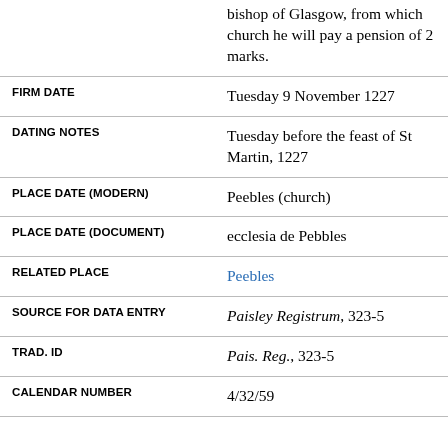bishop of Glasgow, from which church he will pay a pension of 2 marks.
| FIRM DATE | Tuesday 9 November 1227 |
| DATING NOTES | Tuesday before the feast of St Martin, 1227 |
| PLACE DATE (MODERN) | Peebles (church) |
| PLACE DATE (DOCUMENT) | ecclesia de Pebbles |
| RELATED PLACE | Peebles |
| SOURCE FOR DATA ENTRY | Paisley Registrum, 323-5 |
| TRAD. ID | Pais. Reg., 323-5 |
| CALENDAR NUMBER | 4/32/59 |